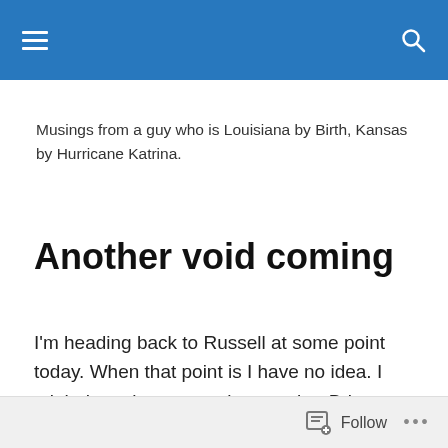[Navigation bar with hamburger menu and search icon]
Musings from a guy who is Louisiana by Birth, Kansas by Hurricane Katrina.
Another void coming
I'm heading back to Russell at some point today. When that point is I have no idea. I might have been gone by now, but Brittany Davidson is coming back at 4:30. And Showdown, Buzztime's big trivia game, is at 7 p.m. I said my cutoff was 8:30 p.m., and I will stick to that at the very
Follow ...